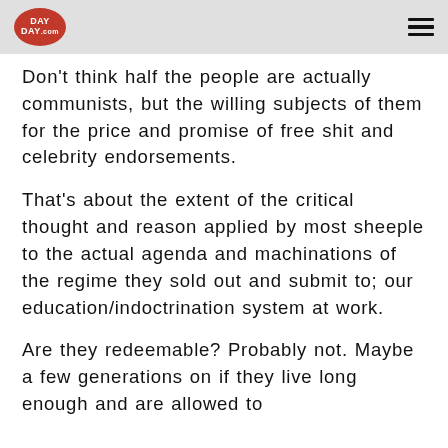DAY DAY
Don't think half the people are actually communists, but the willing subjects of them for the price and promise of free shit and celebrity endorsements.
That's about the extent of the critical thought and reason applied by most sheeple to the actual agenda and machinations of the regime they sold out and submit to; our education/indoctrination system at work.
Are they redeemable? Probably not. Maybe a few generations on if they live long enough and are allowed to